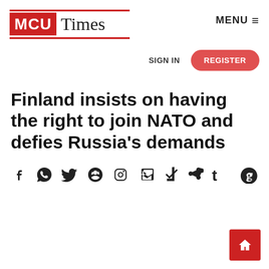MCU Times
MENU
SIGN IN
REGISTER
Finland insists on having the right to join NATO and defies Russia's demands
[Figure (other): Social media sharing icons: Facebook, WhatsApp, Twitter, Pinterest, LinkedIn, Telegram, Tumblr, Reddit]
[Figure (other): Home button icon, red square with white house icon, bottom right corner]